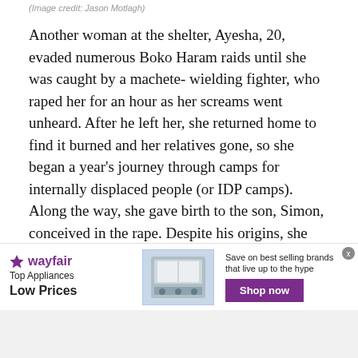(Image credit: Jason Motlagh)
Another woman at the shelter, Ayesha, 20, evaded numerous Boko Haram raids until she was caught by a machete- wielding fighter, who raped her for an hour as her screams went unheard. After he left her, she returned home to find it burned and her relatives gone, so she began a year's journey through camps for internally displaced people (or IDP camps). Along the way, she gave birth to the son, Simon, conceived in the rape. Despite his origins, she calls the boy "a gift from God." He was born on May 29, 2015, the day Nigeria's current president, Muhammadu Buhari, was sworn into office.
[Figure (other): Wayfair advertisement banner showing top appliances with low prices and a shop now button, featuring an image of a stainless steel oven/range.]